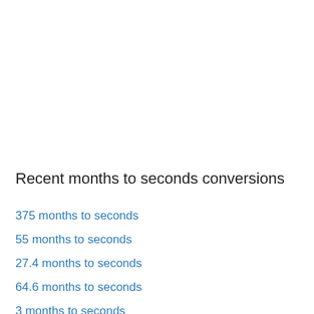Recent months to seconds conversions
375 months to seconds
55 months to seconds
27.4 months to seconds
64.6 months to seconds
3 months to seconds